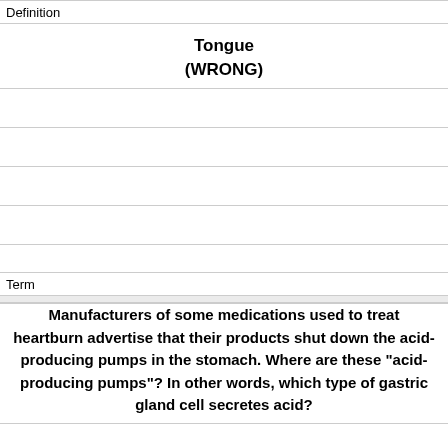Definition
Tongue
(WRONG)
Term
Manufacturers of some medications used to treat heartburn advertise that their products shut down the acid-producing pumps in the stomach. Where are these "acid-producing pumps"? In other words, which type of gastric gland cell secretes acid?